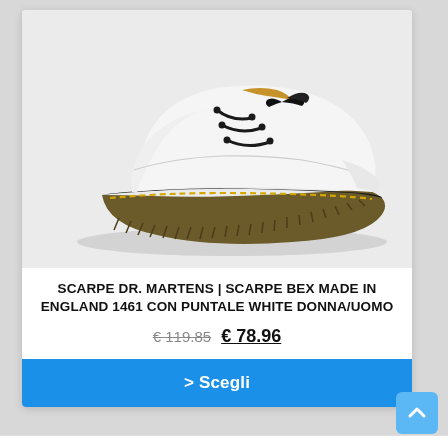[Figure (photo): White Dr. Martens shoe (1461 Bex Made in England) with black laces and chunky ridged sole with yellow stitching, photographed on a light grey background.]
SCARPE DR. MARTENS | SCARPE BEX MADE IN ENGLAND 1461 CON PUNTALE WHITE DONNA/UOMO
€ 119.85  € 78.96
> Scegli